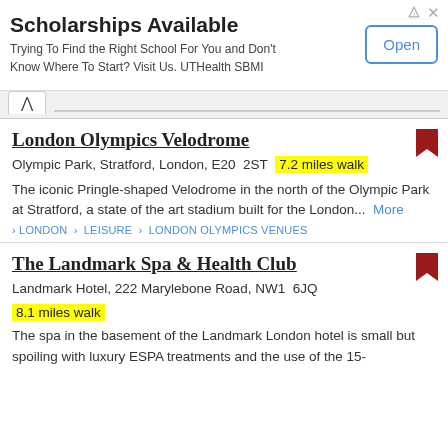[Figure (screenshot): Advertisement banner for UTHealth SBMI scholarships with an 'Open' button]
London Olympics Velodrome
Olympic Park, Stratford, London, E20 2ST  7.2 miles walk
The iconic Pringle-shaped Velodrome in the north of the Olympic Park at Stratford, a state of the art stadium built for the London...  More
> LONDON > LEISURE > LONDON OLYMPICS VENUES
The Landmark Spa & Health Club
Landmark Hotel, 222 Marylebone Road, NW1 6JQ
8.1 miles walk
The spa in the basement of the Landmark London hotel is small but spoiling with luxury ESPA treatments and the use of the 15-